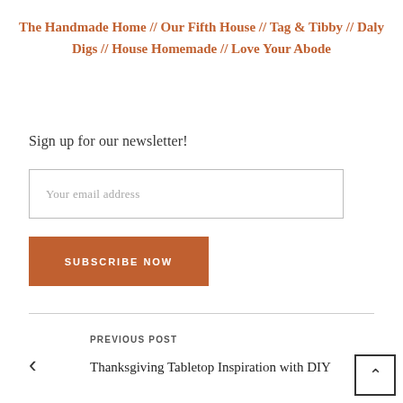The Handmade Home // Our Fifth House // Tag & Tibby // Daly Digs // House Homemade // Love Your Abode
Sign up for our newsletter!
Your email address
SUBSCRIBE NOW
PREVIOUS POST
Thanksgiving Tabletop Inspiration with DIY Dyed Table Run...